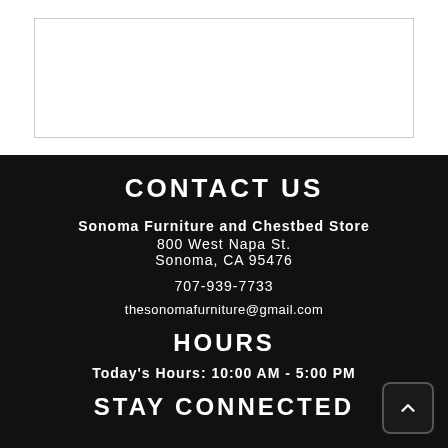[Figure (other): Empty white box with thin border, likely a product image placeholder]
CONTACT US
Sonoma Furniture and Chestbed Store
800 West Napa St.
Sonoma, CA 95476
707-939-7733
thesonomafurniture@gmail.com
HOURS
Today's Hours: 10:00 AM - 5:00 PM
STAY CONNECTED